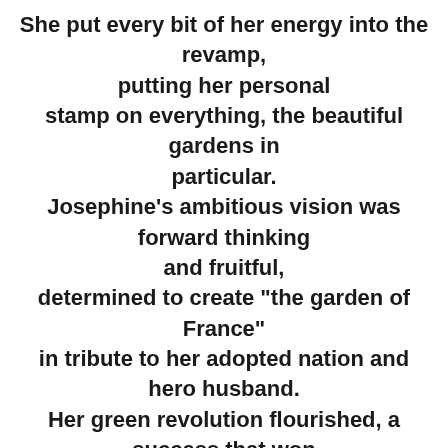She put every bit of her energy into the revamp, putting her personal stamp on everything, the beautiful gardens in particular. Josephine's ambitious vision was forward thinking and fruitful, determined to create "the garden of France" in tribute to her adopted nation and hero husband. Her green revolution flourished, a success that won over even Napoleon. She and her garden architects included a heated orangery for 300 pineapple plants, a greenhouse and most famously, a remarkable rose garden. They cultivated nearly 200 plants that were completely new to France, creating an air of feminine beauty and freedom. Dahlias, lilies, and roses - the scent of a woman -- an escape from